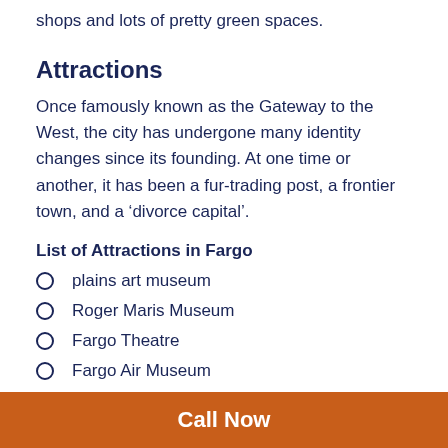shops and lots of pretty green spaces.
Attractions
Once famously known as the Gateway to the West, the city has undergone many identity changes since its founding. At one time or another, it has been a fur-trading post, a frontier town, and a ‘divorce capital’.
List of Attractions in Fargo
plains art museum
Roger Maris Museum
Fargo Theatre
Fargo Air Museum
Fargo-Moorhead Visitors Center
Call Now